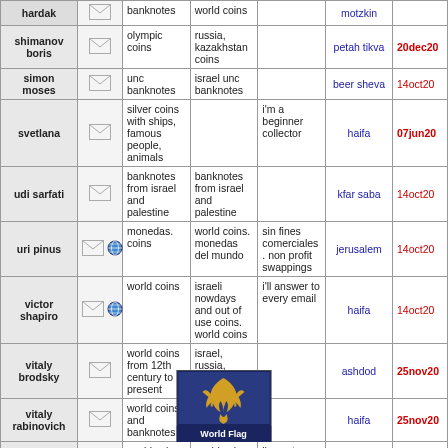| name | contact | have | want | comment | city | date |
| --- | --- | --- | --- | --- | --- | --- |
| hardak | envelope | banknotes | world coins |  | motzkin |  |
| shimanov boris | envelope | olympic coins | russia, kazakhstan coins |  | petah tikva | 20dec20 |
| simon moses | envelope | unc banknotes | israel unc banknotes |  | beer sheva | 14oct20 |
| svetlana | envelope | silver coins with ships, famous people, animals |  | i'm a beginner collector | haifa | 07jun20 |
| udi sarfati | envelope | banknotes from israel and palestine | banknotes from israel and palestine |  | kfar saba | 14oct20 |
| uri pinus | envelope+globe | monedas. coins | world coins. monedas del mundo | sin fines comerciales. non profit swappings | jerusalem | 14oct20 |
| victor shapiro | envelope+globe | world coins | israeli nowdays and out of use coins. world coins | i'll answer to every email | haifa | 14oct20 |
| vitaly brodsky | envelope | world coins from 12th century to present | israel, russia, siberia, europe |  | ashdod | 25nov20 |
| vitaly rabinovich | envelope | world coins and banknotes | world coins and banknotes |  | haifa | 25nov20 |
| ziad najjar | envelope | world coins | world coins and banknotes | i've got an interesting swap list | haifa | 14oct20 |
[Figure (illustration): World Flag database logo - blue background with golden dragon/griffin emblem, labeled 'World Flag']